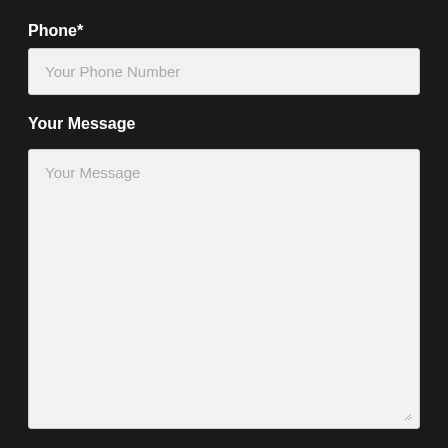Phone*
Your Phone Number
Your Message
Your Message